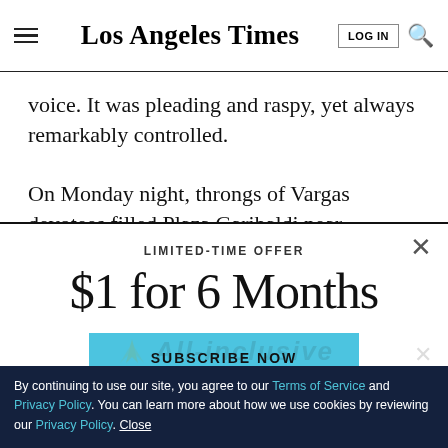Los Angeles Times
voice. It was pleading and raspy, yet always remarkably controlled.
On Monday night, throngs of Vargas devotees filled Plaza Garibaldi near downtown Mexico City to be near
LIMITED-TIME OFFER
$1 for 6 Months
SUBSCRIBE NOW
By continuing to use our site, you agree to our Terms of Service and Privacy Policy. You can learn more about how we use cookies by reviewing our Privacy Policy. Close